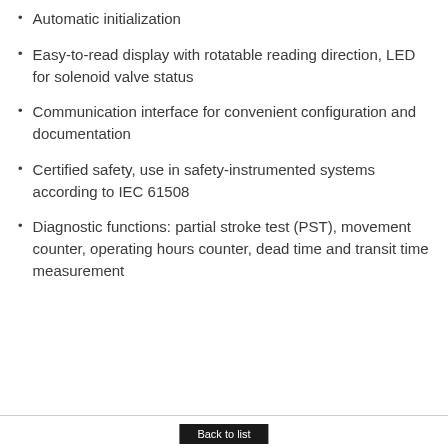Automatic initialization
Easy-to-read display with rotatable reading direction, LED for solenoid valve status
Communication interface for convenient configuration and documentation
Certified safety, use in safety-instrumented systems according to IEC 61508
Diagnostic functions: partial stroke test (PST), movement counter, operating hours counter, dead time and transit time measurement
Back to list